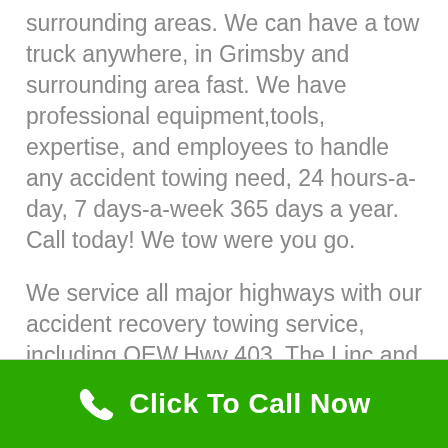surrounding areas. We can have a tow truck anywhere, in Grimsby and surrounding area fast. We have professional equipment,tools, expertise, and employees to handle any accident towing need, 24 hours-a-day, 7 days-a-week 365 days a year. Call today! We tow were you go.
We service all major highways with our accident recovery towing service, including QEW,Hwy 403, The Linc and The Redhill Express Way.
Click To Call Now